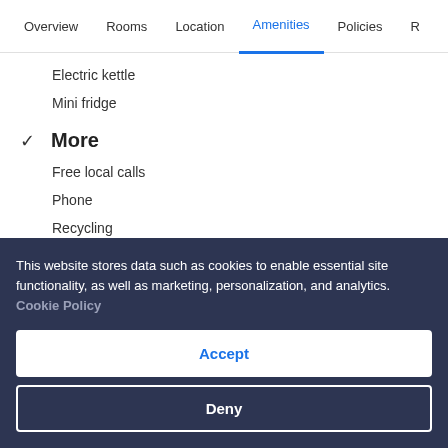Overview | Rooms | Location | Amenities | Policies | R
Electric kettle
Mini fridge
✓ More
Free local calls
Phone
Recycling
Restaurant dining guide
This website stores data such as cookies to enable essential site functionality, as well as marketing, personalization, and analytics. Cookie Policy
Accept
Deny